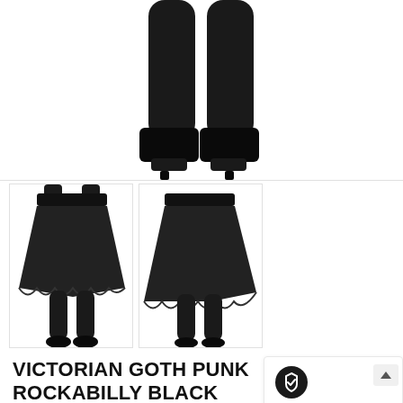[Figure (photo): Main product photo showing lower body/legs of a person wearing a black lace-trimmed full skirt, black tights, and black platform heels, viewed from the front, white background]
[Figure (photo): Thumbnail 1: back view of black lace-trimmed full skirt on model wearing black tights]
[Figure (photo): Thumbnail 2: three-quarter back view of black lace-trimmed full skirt on model wearing black tights]
VICTORIAN GOTH PUNK ROCKABILLY BLACK LACE TRIMMED FULL
[Figure (infographic): Guarantee badge widget showing a shield icon, 'Guaranteed' label, '30 days Money Back' text, and an expand arrow button]